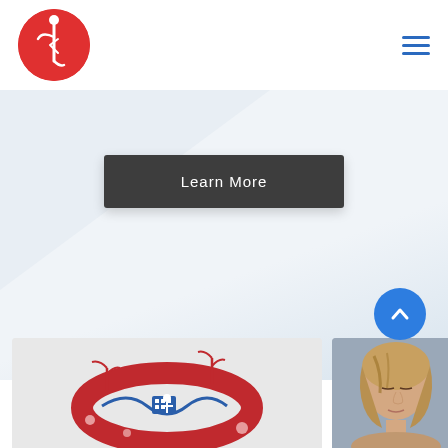[Figure (logo): Red circular logo with white stylized figure/letter design]
[Figure (other): Hamburger menu icon with three horizontal blue lines]
[Figure (other): Hero background area with light blue-grey diagonal gradient]
Learn More
[Figure (other): Blue circular scroll-to-top button with upward chevron arrow]
[Figure (illustration): Red circular band/ring product illustration with decorative elements including plants and dots]
[Figure (photo): Photo of a woman with light hair, looking down]